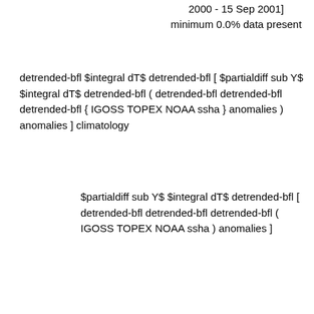2000 - 15 Sep 2001] minimum 0.0% data present
detrended-bfl $integral dT$ detrended-bfl [ $partialdiff sub Y$ $integral dT$ detrended-bfl ( detrended-bfl detrended-bfl detrended-bfl { IGOSS TOPEX NOAA ssha } anomalies ) anomalies ] climatology
$partialdiff sub Y$ $integral dT$ detrended-bfl [ detrended-bfl detrended-bfl detrended-bfl ( IGOSS TOPEX NOAA ssha ) anomalies ]
detrended-bfl detrended-bfl detrended-bfl [ IGOSS TOPEX NOAA ssha ]
Monthly mean sea surface height anomaly. USA